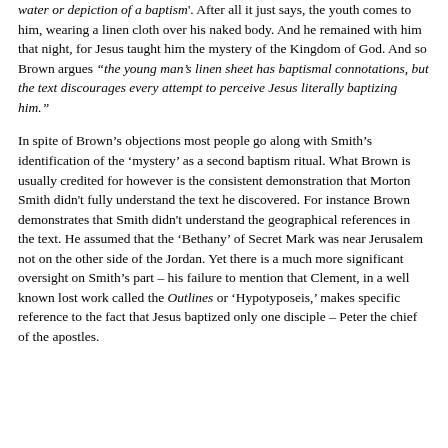water or depiction of a baptism'. After all it just says, the youth comes to him, wearing a linen cloth over his naked body. And he remained with him that night, for Jesus taught him the mystery of the Kingdom of God. And so Brown argues “the young man’s linen sheet has baptismal connotations, but the text discourages every attempt to perceive Jesus literally baptizing him.”
In spite of Brown’s objections most people go along with Smith’s identification of the ‘mystery’ as a second baptism ritual. What Brown is usually credited for however is the consistent demonstration that Morton Smith didn't fully understand the text he discovered. For instance Brown demonstrates that Smith didn't understand the geographical references in the text. He assumed that the ‘Bethany’ of Secret Mark was near Jerusalem not on the other side of the Jordan. Yet there is a much more significant oversight on Smith’s part – his failure to mention that Clement, in a well known lost work called the Outlines or ‘Hypotyposeis,’ makes specific reference to the fact that Jesus baptized only one disciple – Peter the chief of the apostles.